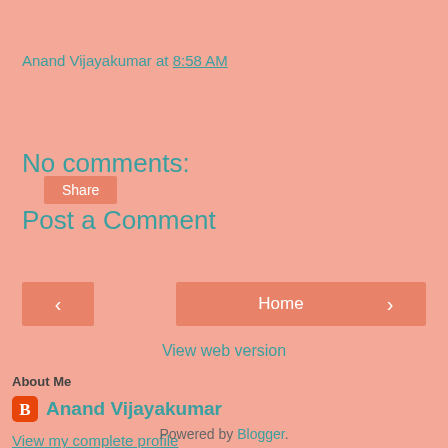Anand Vijayakumar at 8:58 AM
Share
No comments:
Post a Comment
‹
Home
›
View web version
About Me
Anand Vijayakumar
View my complete profile
Powered by Blogger.